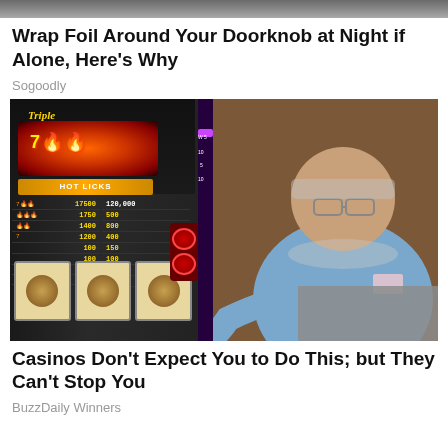[Figure (photo): Partial top image strip visible at the very top of the page]
Wrap Foil Around Your Doorknob at Night if Alone, Here's Why
Sogoodly
[Figure (photo): An older man in a light blue shirt standing next to a Triple slot machine in a casino. The slot machine shows a paytable with various numbers. The man has grey hair and glasses.]
Casinos Don't Expect You to Do This; but They Can't Stop You
BuzzDaily Winners